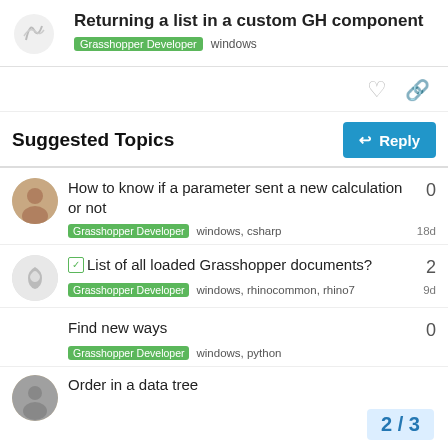Returning a list in a custom GH component
Grasshopper Developer  windows
Suggested Topics
How to know if a parameter sent a new calculation or not
Grasshopper Developer  windows, csharp  18d
List of all loaded Grasshopper documents?
Grasshopper Developer  windows, rhinocommon, rhino7  9d
Find new ways
Grasshopper Developer  windows, python
Order in a data tree
2 / 3